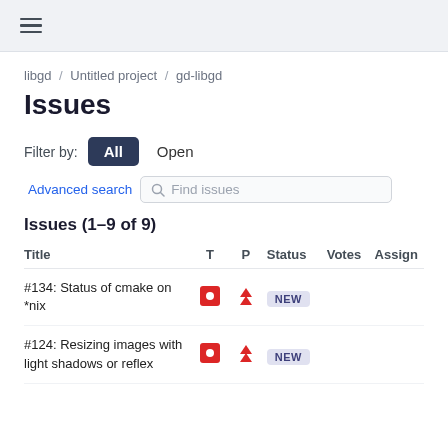≡
libgd / Untitled project / gd-libgd
Issues
Filter by: All  Open
Advanced search  Find issues
Issues (1–9 of 9)
| Title | T | P | Status | Votes | Assign |
| --- | --- | --- | --- | --- | --- |
| #134: Status of cmake on *nix | ■ | ▲▲ | NEW |  |  |
| #124: Resizing images with light shadows or reflex | ■ | ▲▲ | NEW |  |  |